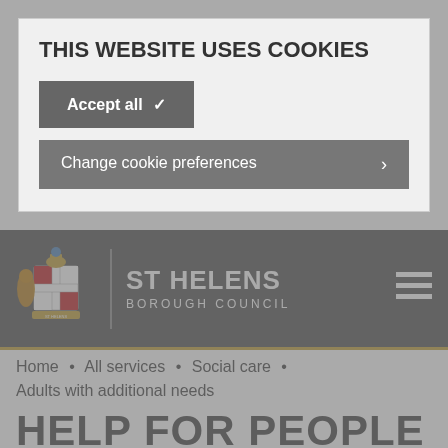THIS WEBSITE USES COOKIES
Accept all ✓
Change cookie preferences ›
[Figure (logo): St Helens Borough Council coat of arms and text logo on dark grey header bar]
Home • All services • Social care • Adults with additional needs
HELP FOR PEOPLE